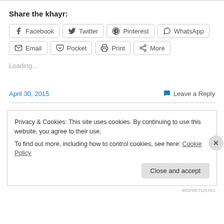Share the khayr:
[Figure (other): Social share buttons: Facebook, Twitter, Pinterest, WhatsApp, Email, Pocket, Print, More]
Loading...
April 30, 2015
Leave a Reply
Privacy & Cookies: This site uses cookies. By continuing to use this website, you agree to their use.
To find out more, including how to control cookies, see here: Cookie Policy
Close and accept